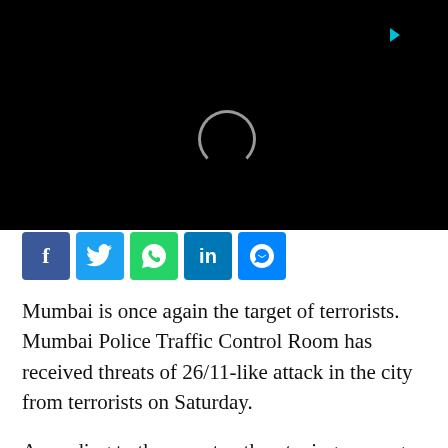[Figure (screenshot): Black video player area with loading spinner circle and small cyan play/arrow icon at top]
[Figure (infographic): Social media share buttons row: Facebook (blue f), Twitter (white bird on blue), WhatsApp (white phone on green), LinkedIn (white in on blue), Messenger (white lightning on blue)]
Mumbai is once again the target of terrorists. Mumbai Police Traffic Control Room has received threats of 26/11-like attack in the city from terrorists on Saturday.
According to the report, a threatening message has been sent through WhatsApp. It is being said that this threat has been received from the neighboring country of Pakistan. The sender did not specify when the attacks would be carried out.
Meanwhile, Leader of Opposition of the Nationalist Congress Party, Ajit Pawar said the state government...